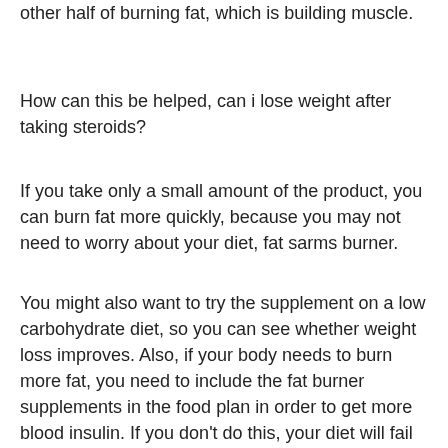other half of burning fat, which is building muscle.
How can this be helped, can i lose weight after taking steroids?
If you take only a small amount of the product, you can burn fat more quickly, because you may not need to worry about your diet, fat sarms burner.
You might also want to try the supplement on a low carbohydrate diet, so you can see whether weight loss improves. Also, if your body needs to burn more fat, you need to include the fat burner supplements in the food plan in order to get more blood insulin. If you don't do this, your diet will fail the first time you try it, sarms fat burner.
Also, don't forget to take your vitamins, enzymes, and other supplements! The